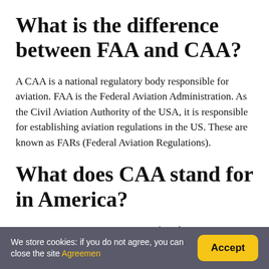What is the difference between FAA and CAA?
A CAA is a national regulatory body responsible for aviation. FAA is the Federal Aviation Administration. As the Civil Aviation Authority of the USA, it is responsible for establishing aviation regulations in the US. These are known as FARs (Federal Aviation Regulations).
What does CAA stand for in America?
Creative Artists Agency Since our founding in 1975, CAA has continued to deliver on its promise that every client is
We store cookies: if you do not agree, you can close the site Agreemen